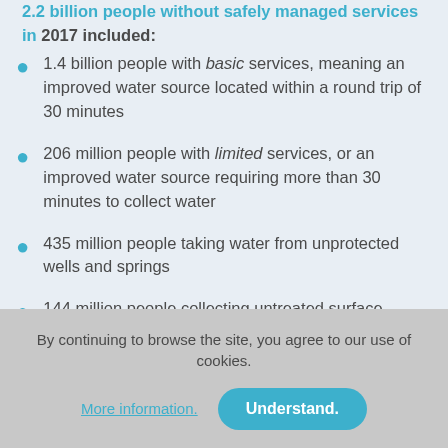2.2 billion people without safely managed services in 2017 included:
1.4 billion people with basic services, meaning an improved water source located within a round trip of 30 minutes
206 million people with limited services, or an improved water source requiring more than 30 minutes to collect water
435 million people taking water from unprotected wells and springs
144 million people collecting untreated surface water from lakes, ponds, rivers and streams
By continuing to browse the site, you agree to our use of cookies.
More information. Understand.